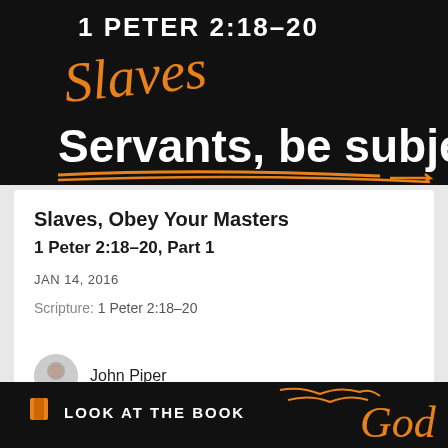[Figure (illustration): Black banner with '1 PETER 2:18-20' in white bold uppercase text, 'Slaves' in orange italic handwritten style, 'Servants, be subje' in large white bold text, and orange underline strokes at the bottom.]
Slaves, Obey Your Masters
1 Peter 2:18–20, Part 1
JAN 14, 2016
Scripture: 1 Peter 2:18–20
John Piper
[Figure (illustration): Black banner with orange handwriting marks, a yellow book icon, and 'LOOK AT THE BOOK' text in white with orange cursive script decoration.]